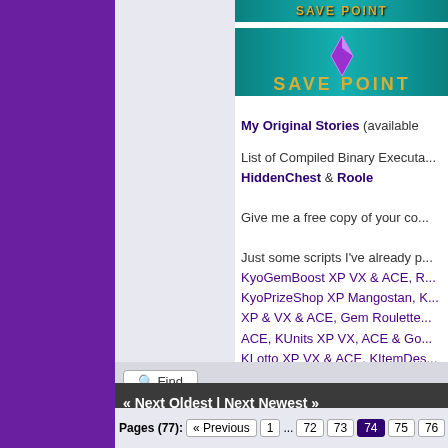[Figure (screenshot): Save Point banner image 1 - teal background with stylized text]
[Figure (screenshot): Save Point banner image 2 - teal background with stylized logo text]
My Original Stories (available
List of Compiled Binary Executa... HiddenChest & Roole
Give me a free copy of your co...
Just some scripts I've already p... KyoGemBoost XP VX & ACE, R... KyoPrizeShop XP Mangostan, K... XP & VX & ACE, Gem Roulette... ACE, KUnits XP VX, ACE & Go... KLotto XP VX & ACE, KItemDes...
Find
« Next Oldest | Next Newest »
Pages (77): « Previous 1 ... 72 73 74 75 76 77 Nex...